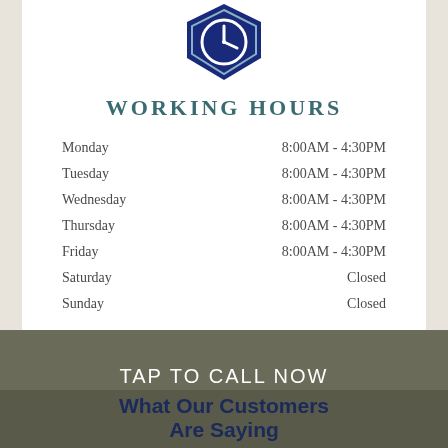[Figure (logo): Blue shield/hexagon icon with a clock symbol inside, white outline]
WORKING HOURS
| Day | Hours |
| --- | --- |
| Monday | 8:00AM - 4:30PM |
| Tuesday | 8:00AM - 4:30PM |
| Wednesday | 8:00AM - 4:30PM |
| Thursday | 8:00AM - 4:30PM |
| Friday | 8:00AM - 4:30PM |
| Saturday | Closed |
| Sunday | Closed |
TAP TO CALL NOW
951-927-2102
What Our Customers Are Saying